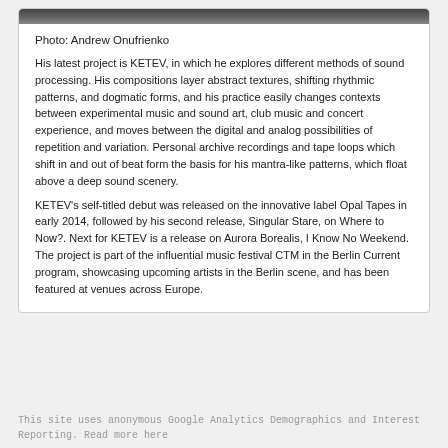[Figure (photo): Black and white photo strip of a person, partially cropped at the top of the card.]
Photo: Andrew Onufrienko
His latest project is KETEV, in which he explores different methods of sound processing. His compositions layer abstract textures, shifting rhythmic patterns, and dogmatic forms, and his practice easily changes contexts between experimental music and sound art, club music and concert experience, and moves between the digital and analog possibilities of repetition and variation. Personal archive recordings and tape loops which shift in and out of beat form the basis for his mantra-like patterns, which float above a deep sound scenery.
KETEV's self-titled debut was released on the innovative label Opal Tapes in early 2014, followed by his second release, Singular Stare, on Where to Now?. Next for KETEV is a release on Aurora Borealis, I Know No Weekend. The project is part of the influential music festival CTM in the Berlin Current program, showcasing upcoming artists in the Berlin scene, and has been featured at venues across Europe.
This site uses anonymous Google Analytics Demographics and Interest Reporting. Read more here